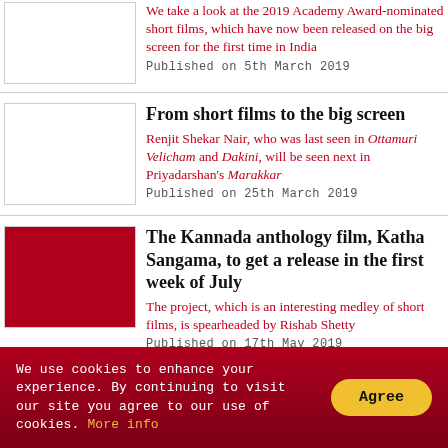We take a look at the 2019 Academy Award-nominated short films, which have now been released on the big screen for the first time in India
Published on 5th March 2019
From short films to the big screen
Renjit Shekar Nair, who was last seen in Ottamuri Velicham and Dakini, will be seen next in Priyadarshan's Marakkar
Published on 25th March 2019
The Kannada anthology film, Katha Sangama, to get a release in the first week of July
The project, which is an interesting medley of short films, is spearheaded by Rishab Shetty
Published on 17th May 2019
We use cookies to enhance your experience. By continuing to visit our site you agree to our use of cookies. More info